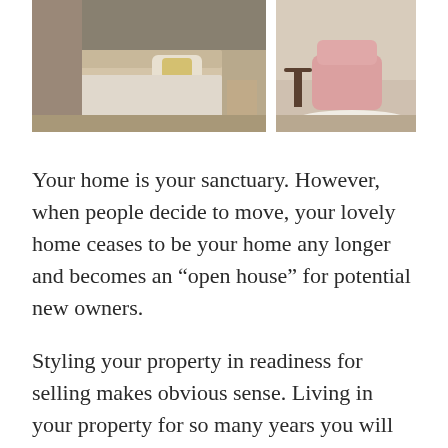[Figure (photo): Two interior room photos side by side: left shows a bedroom with a bed covered in white/cream linens and a nightstand; right shows a sitting area with a pink chair, small round table, and fluffy rug.]
Your home is your sanctuary. However, when people decide to move, your lovely home ceases to be your home any longer and becomes an “open house” for potential new owners.
Styling your property in readiness for selling makes obvious sense. Living in your property for so many years you will naturally be a little blind to its condition, style and appearance and you will typically make excuses for any areas of neglect.